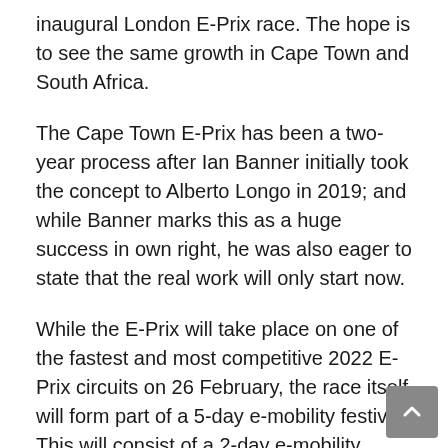inaugural London E-Prix race. The hope is to see the same growth in Cape Town and South Africa.
The Cape Town E-Prix has been a two-year process after Ian Banner initially took the concept to Alberto Longo in 2019; and while Banner marks this as a huge success in own right, he was also eager to state that the real work will only start now.
While the E-Prix will take place on one of the fastest and most competitive 2022 E-Prix circuits on 26 February, the race itself will form part of a 5-day e-mobility festival. This will consist of a 2-day e-mobility conference, e-ride experiences for the public, a game of golf, hosted by Ernie Els, as well as a climate change summit.